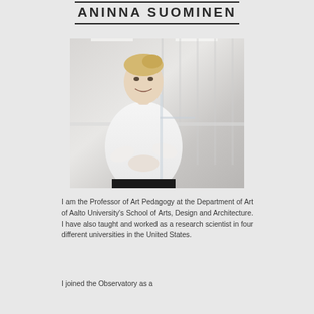ANINNA SUOMINEN
[Figure (photo): Professional photo of a blonde woman in a white blouse leaning against a glass railing in a modern building interior, smiling at the camera.]
I am the Professor of Art Pedagogy at the Department of Art of Aalto University's School of Arts, Design and Architecture. I have also taught and worked as a research scientist in four different universities in the United States.
I joined the Observatory as a